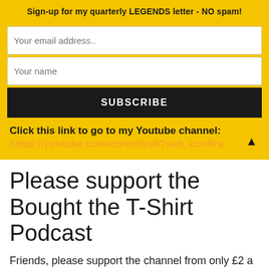Sign-up for my quarterly LEGENDS letter - NO spam!
Your email address..
Your name
SUBSCRIBE
Click this link to go to my Youtube channel:
https://youtube.com/christhrall?sub_confirati
Please support the Bought the T-Shirt Podcast
Friends, please support the channel from only £2 a month at:
https://www.patreon.com/christhrall
In return you'll get offered a VIP invite to my annual